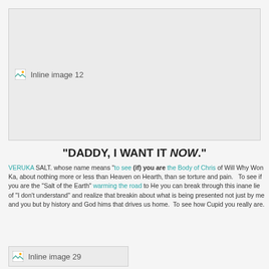[Figure (other): Inline image 12 placeholder with broken image icon]
"DADDY, I WANT IT NOW."
VERUKA SALT. whose name means "to see (if) you are the Body of Chris... of Will Why Won Ka, about nothing more or less than Heaven on Hearth, than se... torture and pain.   To see if you are the "Salt of the Earth" warming the road to He... you can break through this inane lie of "I don't understand" and realize that breakin... about what is being presented not just by me and you but by history and God hims... that drives us home.  To see how Cupid you really are.
[Figure (other): Inline image 29 placeholder with broken image icon]